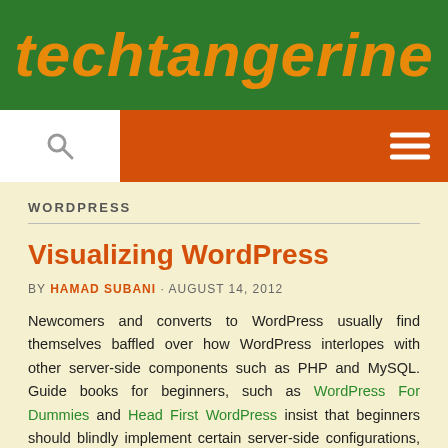techtangerine
WORDPRESS
Visualizing WordPress
BY HAMAD SUBANI · AUGUST 14, 2012
Newcomers and converts to WordPress usually find themselves baffled over how WordPress interlopes with other server-side components such as PHP and MySQL. Guide books for beginners, such as WordPress For Dummies and Head First WordPress insist that beginners should blindly implement certain server-side configurations, and that fully understanding them is not